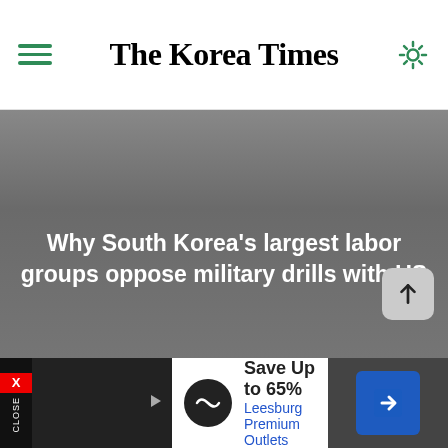The Korea Times
[Figure (photo): Dark gray background image with white headline text: Why South Korea's largest labor groups oppose military drills with US]
Why South Korea's largest labor groups oppose military drills with US
[Figure (photo): Light gray background image area, second article photo]
Save Up to 65% Leesburg Premium Outlets